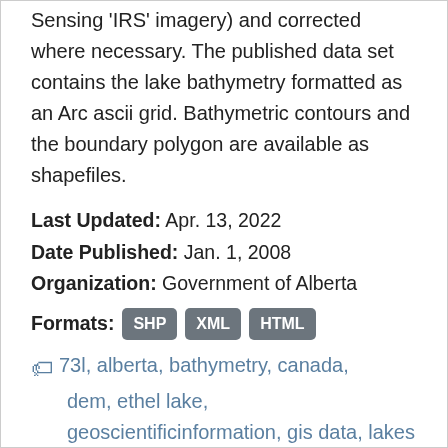Sensing 'IRS' imagery) and corrected where necessary. The published data set contains the lake bathymetry formatted as an Arc ascii grid. Bathymetric contours and the boundary polygon are available as shapefiles.
Last Updated: Apr. 13, 2022
Date Published: Jan. 1, 2008
Organization: Government of Alberta
Formats: SHP XML HTML
73l, alberta, bathymetry, canada, dem, ethel lake, geoscientificinformation, gis data, lakes